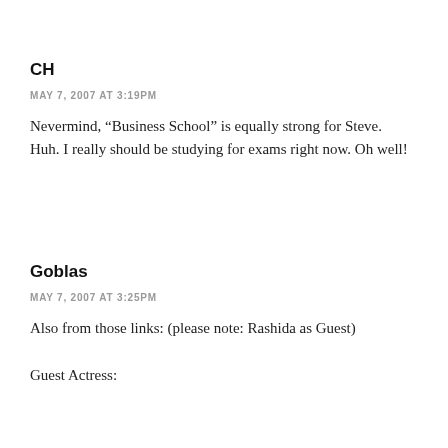CH
MAY 7, 2007 AT 3:19PM
Nevermind, “Business School” is equally strong for Steve.
Huh. I really should be studying for exams right now. Oh well!
Goblas
MAY 7, 2007 AT 3:25PM
Also from those links: (please note: Rashida as Guest)

Guest Actress: